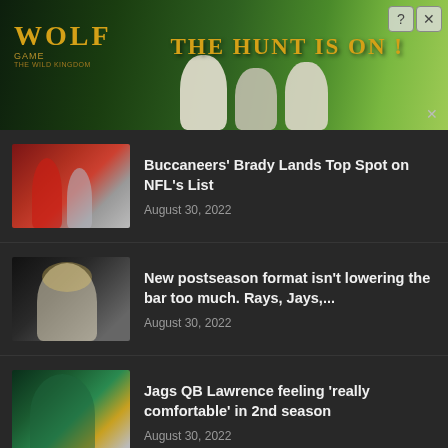[Figure (photo): Wolf Game advertisement banner with wolves in a field, text 'THE HUNT IS ON!' in gold]
[Figure (photo): Thumbnail of Buccaneers football players]
Buccaneers' Brady Lands Top Spot on NFL's List
August 30, 2022
[Figure (photo): Thumbnail of baseball player]
New postseason format isn't lowering the bar too much. Rays, Jays,...
August 30, 2022
[Figure (photo): Thumbnail of Jaguars QB Trevor Lawrence]
Jags QB Lawrence feeling 'really comfortable' in 2nd season
August 30, 2022
[Figure (photo): Frontgate advertisement with bedroom furniture, text 'Frontgate SALES Up to 30% off sitewide from August 23-25 www.frontgate.com']